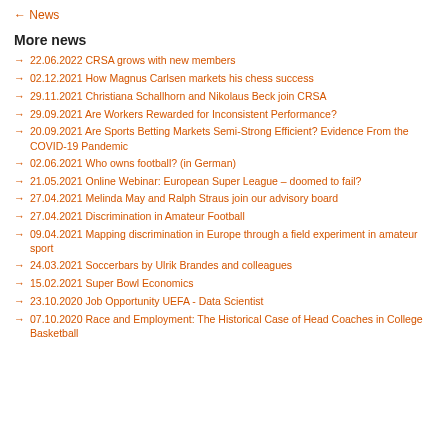← News
More news
22.06.2022 CRSA grows with new members
02.12.2021 How Magnus Carlsen markets his chess success
29.11.2021 Christiana Schallhorn and Nikolaus Beck join CRSA
29.09.2021 Are Workers Rewarded for Inconsistent Performance?
20.09.2021 Are Sports Betting Markets Semi-Strong Efficient? Evidence From the COVID-19 Pandemic
02.06.2021 Who owns football? (in German)
21.05.2021 Online Webinar: European Super League – doomed to fail?
27.04.2021 Melinda May and Ralph Straus join our advisory board
27.04.2021 Discrimination in Amateur Football
09.04.2021 Mapping discrimination in Europe through a field experiment in amateur sport
24.03.2021 Soccerbars by Ulrik Brandes and colleagues
15.02.2021 Super Bowl Economics
23.10.2020 Job Opportunity UEFA - Data Scientist
07.10.2020 Race and Employment: The Historical Case of Head Coaches in College Basketball